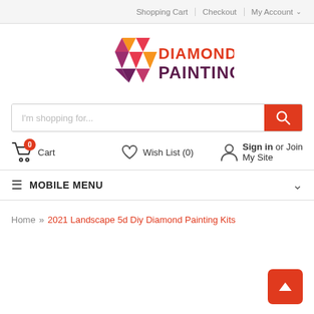Shopping Cart | Checkout | My Account
[Figure (logo): Diamond Painting logo with diamond gem icon in pink, magenta, orange triangles and text DIAMOND PAINTING]
[Figure (screenshot): Search bar with placeholder text 'I'm shopping for...' and red search button]
0 Cart   Wish List (0)   Sign in or Join My Site
MOBILE MENU
Home » 2021 Landscape 5d Diy Diamond Painting Kits